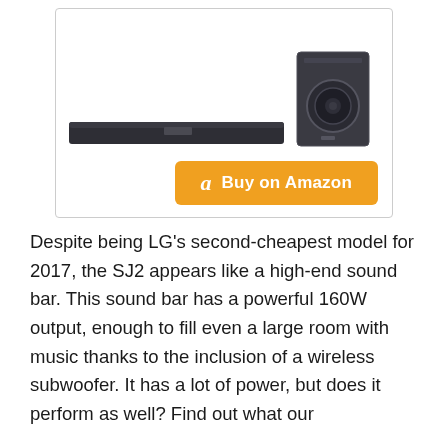[Figure (photo): LG sound bar and wireless subwoofer product image with a Buy on Amazon button below it]
Despite being LG's second-cheapest model for 2017, the SJ2 appears like a high-end sound bar. This sound bar has a powerful 160W output, enough to fill even a large room with music thanks to the inclusion of a wireless subwoofer. It has a lot of power, but does it perform as well? Find out what our